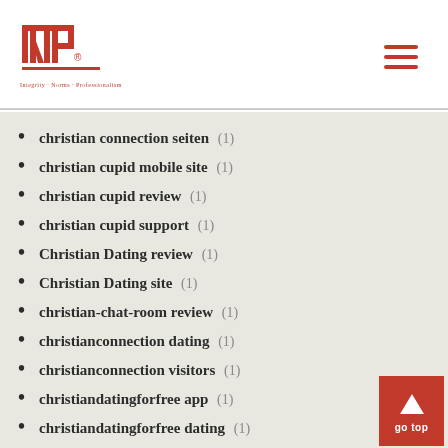INP logo and navigation
christian connection seiten (1)
christian cupid mobile site (1)
christian cupid review (1)
christian cupid support (1)
Christian Dating review (1)
Christian Dating site (1)
christian-chat-room review (1)
christianconnection dating (1)
christianconnection visitors (1)
christiandatingforfree app (1)
christiandatingforfree dating (1)